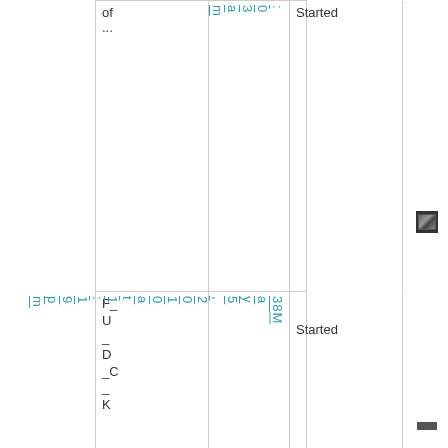| Name | Date | Status | Icon |
| --- | --- | --- | --- |
| of ... | 03am | Started | [icon] |
| F_U_D_C_K | May 5, 2010 at 1:19pm | Started | [icon] |